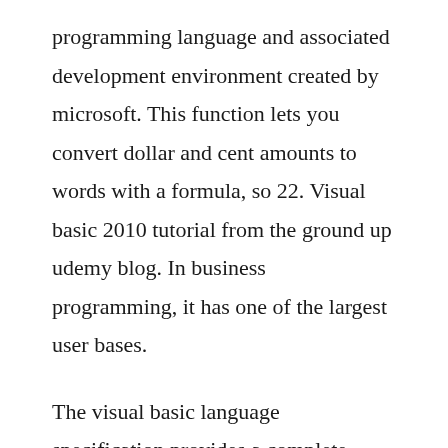programming language and associated development environment created by microsoft. This function lets you convert dollar and cent amounts to words with a formula, so 22. Visual basic 2010 tutorial from the ground up udemy blog. In business programming, it has one of the largest user bases.
The visual basic language specification provides a complete description of the visual basic language 9. First published 2010 printed in the united states of america a catalog record